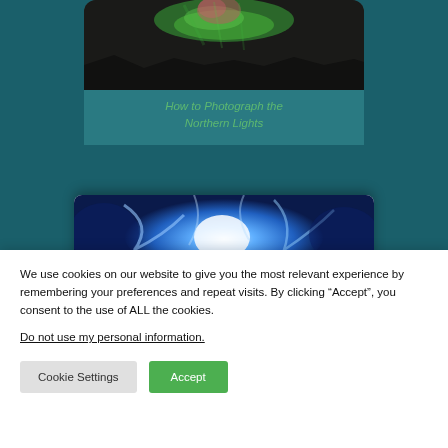[Figure (photo): Screenshot of a photography website showing two article cards on a teal/dark teal background. Top card shows a northern lights photo with a green and pink aurora over dark rocky landscape. Text below reads 'How to Photograph the Northern Lights'. Second card partially visible shows a blue glowing cave/ice image.]
How to Photograph the Northern Lights
We use cookies on our website to give you the most relevant experience by remembering your preferences and repeat visits. By clicking “Accept”, you consent to the use of ALL the cookies.
Do not use my personal information.
Cookie Settings
Accept